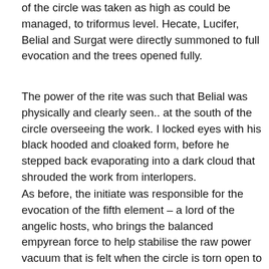of the circle was taken as high as could be managed, to triformus level. Hecate, Lucifer, Belial and Surgat were directly summoned to full evocation and the trees opened fully.
The power of the rite was such that Belial was physically and clearly seen.. at the south of the circle overseeing the work. I locked eyes with his black hooded and cloaked form, before he stepped back evaporating into a dark cloud that shrouded the work from interlopers.
As before, the initiate was responsible for the evocation of the fifth element – a lord of the angelic hosts, who brings the balanced empyrean force to help stabilise the raw power vacuum that is felt when the circle is torn open to walk beyond. With this done, Behemuth himself was invoked directly into the roaring waters of the waterfall. Its huge form could be seen coiling around the rushing waters